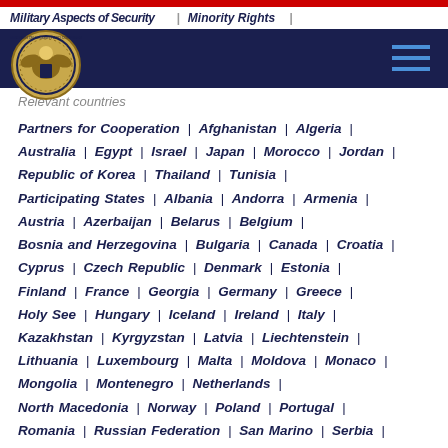Military Aspects of Security | Minority Rights |
Relevant countries
Partners for Cooperation | Afghanistan | Algeria | Australia | Egypt | Israel | Japan | Morocco | Jordan | Republic of Korea | Thailand | Tunisia | Participating States | Albania | Andorra | Armenia | Austria | Azerbaijan | Belarus | Belgium | Bosnia and Herzegovina | Bulgaria | Canada | Croatia | Cyprus | Czech Republic | Denmark | Estonia | Finland | France | Georgia | Germany | Greece | Holy See | Hungary | Iceland | Ireland | Italy | Kazakhstan | Kyrgyzstan | Latvia | Liechtenstein | Lithuania | Luxembourg | Malta | Moldova | Monaco | Mongolia | Montenegro | Netherlands | North Macedonia | Norway | Poland | Portugal | Romania | Russian Federation | San Marino | Serbia |